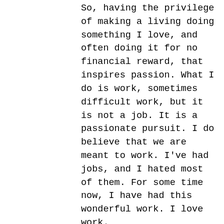So, having the privilege of making a living doing something I love, and often doing it for no financial reward, that inspires passion. What I do is work, sometimes difficult work, but it is not a job. It is a passionate pursuit. I do believe that we are meant to work. I've had jobs, and I hated most of them. For some time now, I have had this wonderful work. I love work.